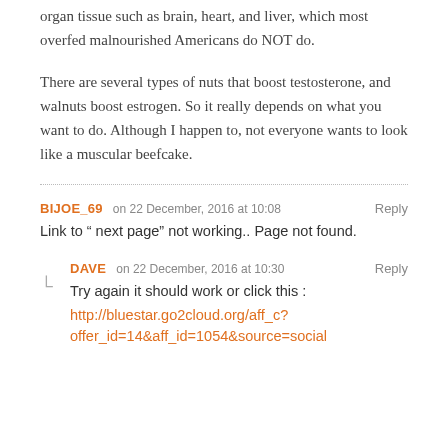organ tissue such as brain, heart, and liver, which most overfed malnourished Americans do NOT do.
There are several types of nuts that boost testosterone, and walnuts boost estrogen. So it really depends on what you want to do. Although I happen to, not everyone wants to look like a muscular beefcake.
BIJOE_69 on 22 December, 2016 at 10:08 Reply
Link to “ next page” not working.. Page not found.
DAVE on 22 December, 2016 at 10:30 Reply
Try again it should work or click this :
http://bluestar.go2cloud.org/aff_c?offer_id=14&aff_id=1054&source=social